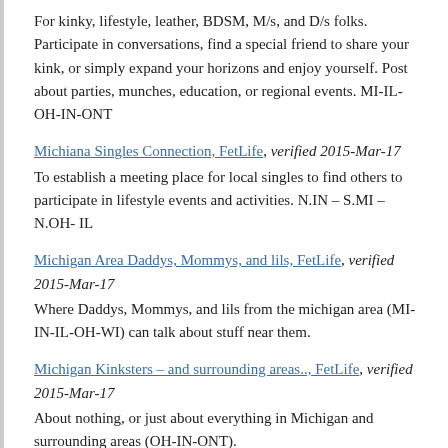For kinky, lifestyle, leather, BDSM, M/s, and D/s folks. Participate in conversations, find a special friend to share your kink, or simply expand your horizons and enjoy yourself. Post about parties, munches, education, or regional events. MI-IL-OH-IN-ONT
Michiana Singles Connection, FetLife, verified 2015-Mar-17
To establish a meeting place for local singles to find others to participate in lifestyle events and activities. N.IN – S.MI – N.OH- IL
Michigan Area Daddys, Mommys, and lils, FetLife, verified 2015-Mar-17
Where Daddys, Mommys, and lils from the michigan area (MI-IN-IL-OH-WI) can talk about stuff near them.
Michigan Kinksters – and surrounding areas.., FetLife, verified 2015-Mar-17
About nothing, or just about everything in Michigan and surrounding areas (OH-IN-ONT).
Michigan Whip Society, FetLife, verified 2015-Mar-17